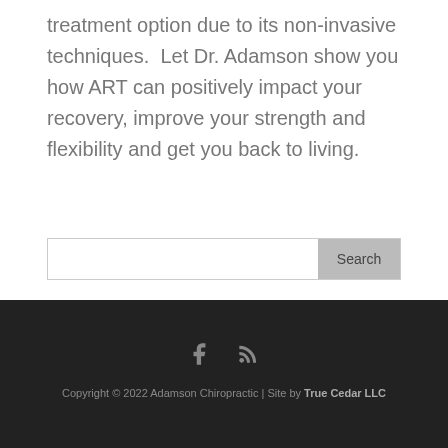treatment option due to its non-invasive techniques.  Let Dr. Adamson show you how ART can positively impact your recovery, improve your strength and flexibility and get you back to living.
[Figure (screenshot): Search input box with a Search button]
Copyright © 2022 Adamson Chiropractic | Site by True Cedar LLC